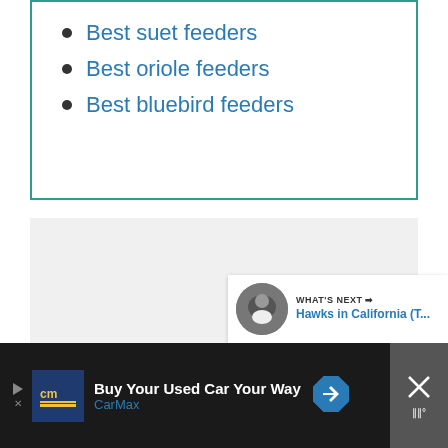Best suet feeders
Best oriole feeders
Best bluebird feeders
[Figure (photo): Large light gray rectangular image placeholder area in the center of the page]
[Figure (infographic): WHAT'S NEXT panel with hawk thumbnail image and text 'Hawks in California (T...']
Buy Your Used Car Your Way CarMax